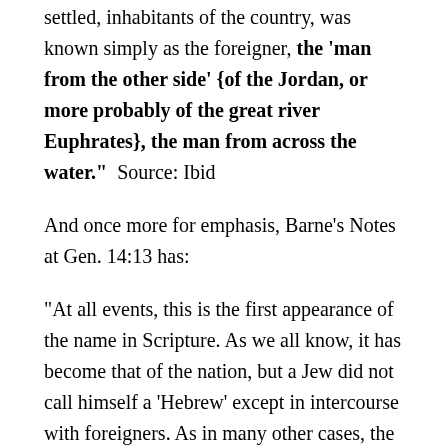settled, inhabitants of the country, was known simply as the foreigner, the 'man from the other side' {of the Jordan, or more probably of the great river Euphrates}, the man from across the water."  Source: Ibid
And once more for emphasis, Barne's Notes at Gen. 14:13 has:
"At all events, this is the first appearance of the name in Scripture. As we all know, it has become that of the nation, but a Jew did not call himself a 'Hebrew' except in intercourse with foreigners. As in many other cases, the national name used by other nations was not that by which the people called themselves. Here, obviously, it is not a national name, for the very good reason that